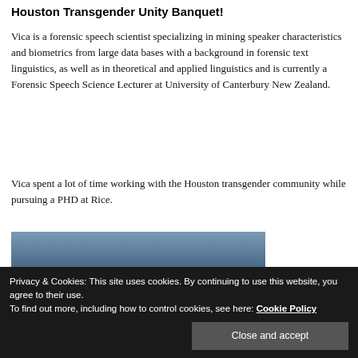Houston Transgender Unity Banquet!
Vica is a forensic speech scientist specializing in mining speaker characteristics and biometrics from large data bases with a background in forensic text linguistics, as well as in theoretical and applied linguistics and is currently a Forensic Speech Science Lecturer at University of Canterbury New Zealand.
Vica spent a lot of time working with the Houston transgender community while pursuing a PHD at Rice.
[Figure (photo): Outdoor event photo, appears to show a gathering or banquet setting with people outdoors at night or dusk.]
Privacy & Cookies: This site uses cookies. By continuing to use this website, you agree to their use.
To find out more, including how to control cookies, see here: Cookie Policy